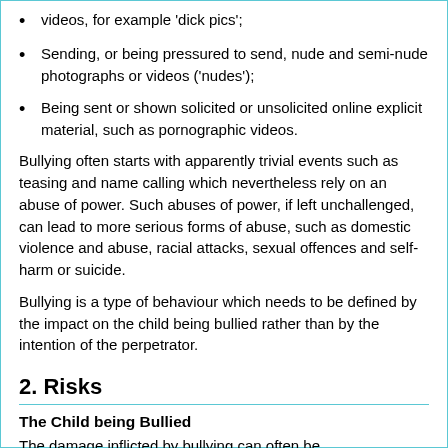videos, for example 'dick pics';
Sending, or being pressured to send, nude and semi-nude photographs or videos ('nudes');
Being sent or shown solicited or unsolicited online explicit material, such as pornographic videos.
Bullying often starts with apparently trivial events such as teasing and name calling which nevertheless rely on an abuse of power. Such abuses of power, if left unchallenged, can lead to more serious forms of abuse, such as domestic violence and abuse, racial attacks, sexual offences and self-harm or suicide.
Bullying is a type of behaviour which needs to be defined by the impact on the child being bullied rather than by the intention of the perpetrator.
2. Risks
The Child being Bullied
The damage inflicted by bullying can often be underestimated. It can cause considerable distress to children, to the extent that it affects their health and development or, at the extreme, causes anxiety,